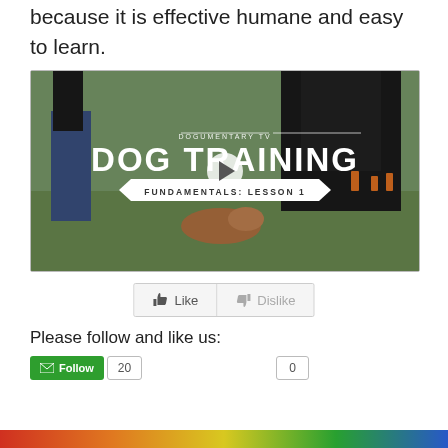because it is effective humane and easy to learn.
[Figure (screenshot): Video thumbnail for 'DOG TRAINING FUNDAMENTALS: LESSON 1' by DOGUMENTARY TV, showing a dog and trainer on a grass field with a play button overlay.]
[Figure (other): Like and Dislike buttons]
Please follow and like us:
[Figure (other): Follow button with count badge showing 20, and a 0 count badge. Scroll-to-top button on the right.]
[Figure (other): Multicolor bottom bar (red, orange, yellow, green, blue)]